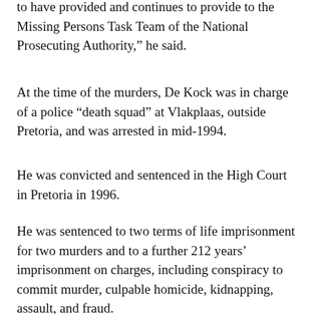to have provided and continues to provide to the Missing Persons Task Team of the National Prosecuting Authority,” he said.
At the time of the murders, De Kock was in charge of a police “death squad” at Vlakplaas, outside Pretoria, and was arrested in mid-1994.
He was convicted and sentenced in the High Court in Pretoria in 1996.
He was sentenced to two terms of life imprisonment for two murders and to a further 212 years’ imprisonment on charges, including conspiracy to commit murder, culpable homicide, kidnapping, assault, and fraud.